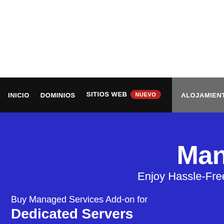INICIO   DOMINIOS   SITIOS WEB  Nuevo   ALOJAMIENTO   CLO
Man
Enjoy Hassle-Free
Buy Managed Services Add-on for
Dedicated Servers